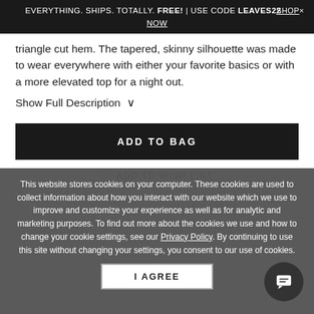EVERYTHING. SHIPS. TOTALLY. FREE! | USE CODE LEAVES22   SHOP×
NOW
triangle cut hem. The tapered, skinny silhouette was made to wear everywhere with either your favorite basics or with a more elevated top for a night out.
Show Full Description ∨
ADD TO BAG
♡  ADD TO WISH LIST
This website stores cookies on your computer. These cookies are used to collect information about how you interact with our website which we use to improve and customize your experience as well as for analytic and marketing purposes. To find out more about the cookies we use and how to change your cookie settings, see our Privacy Policy. By continuing to use this site without changing your settings, you consent to our use of cookies.
I AGREE